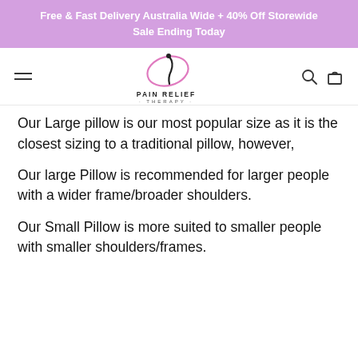Free & Fast Delivery Australia Wide + 40% Off Storewide Sale Ending Today
[Figure (logo): Pain Relief Therapy logo with oval ellipse and figure silhouette]
Our Large pillow is our most popular size as it is the closest sizing to a traditional pillow, however,
Our large Pillow is recommended for larger people with a wider frame/broader shoulders.
Our Small Pillow is more suited to smaller people with smaller shoulders/frames.